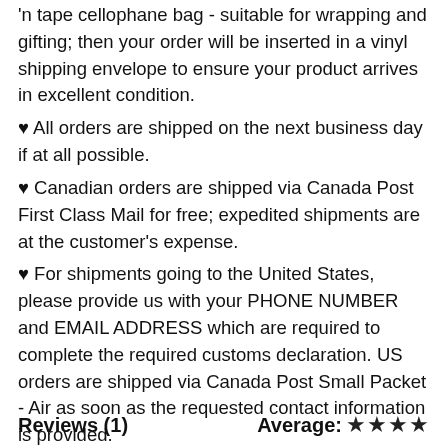'n tape cellophane bag - suitable for wrapping and gifting; then your order will be inserted in a vinyl shipping envelope to ensure your product arrives in excellent condition.
♥ All orders are shipped on the next business day if at all possible.
♥ Canadian orders are shipped via Canada Post First Class Mail for free; expedited shipments are at the customer's expense.
♥ For shipments going to the United States, please provide us with your PHONE NUMBER and EMAIL ADDRESS which are required to complete the required customs declaration. US orders are shipped via Canada Post Small Packet - Air as soon as the requested contact information is provided.
Reviews (1)
Average: ★★★★